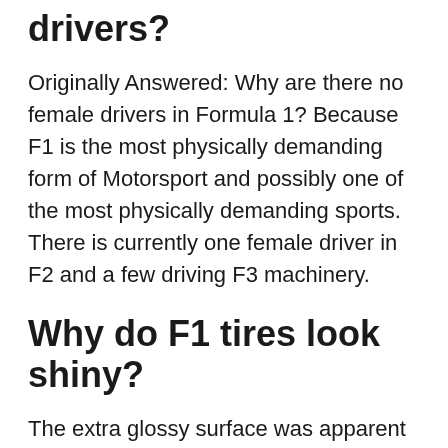Why are there no female F1 drivers?
Originally Answered: Why are there no female drivers in Formula 1? Because F1 is the most physically demanding form of Motorsport and possibly one of the most physically demanding sports. There is currently one female driver in F2 and a few driving F3 machinery.
Why do F1 tires look shiny?
The extra glossy surface was apparent as F1's first pre-season test began at Barcelona this week. The change in appearance is a consequence of Pirelli shifting its production to use a chrome mould, which has been